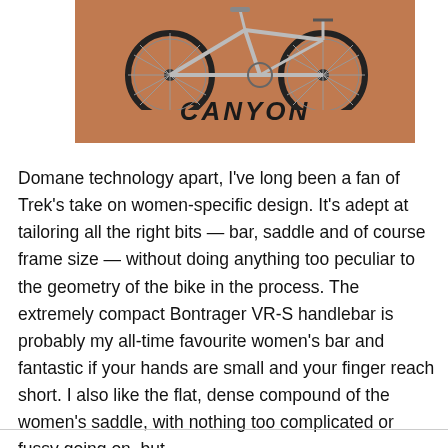[Figure (photo): Canyon road bike on a brown/tan background with the CANYON logo text at the bottom in bold italic black letters]
Domane technology apart, I've long been a fan of Trek's take on women-specific design. It's adept at tailoring all the right bits — bar, saddle and of course frame size — without doing anything too peculiar to the geometry of the bike in the process. The extremely compact Bontrager VR-S handlebar is probably my all-time favourite women's bar and fantastic if your hands are small and your finger reach short. I also like the flat, dense compound of the women's saddle, with nothing too complicated or fussy going on, but